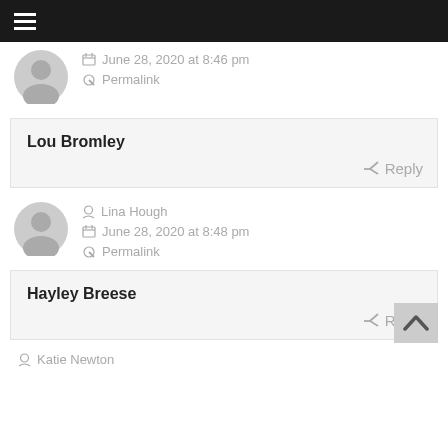≡ (hamburger menu)
June 28, 2020 at 8:46 pm
Permalink
Lou Bromley
Reply
Lina Hough
June 28, 2020 at 8:48 pm
Permalink
Hayley Breese
Reply
Katie Newton